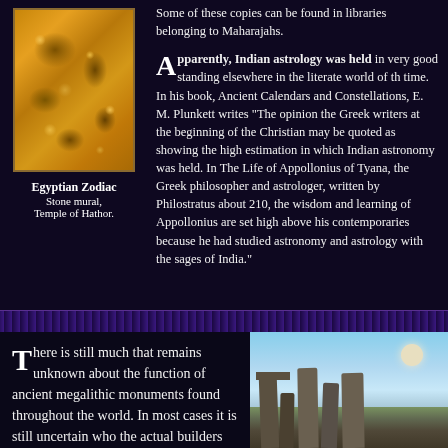Some of these copies can be found in libraries belonging to Maharajahs.
Apparently, Indian astrology was held in very good standing elsewhere in the literate world of the time. In his book, Ancient Calendars and Constellations, E. M. Plunkett writes "The opinion of the Greek writers at the beginning of the Christian may be quoted as showing the high estimation in which Indian astronomy was held. In The Life of Appollonius of Tyana, the Greek philosopher and astrologer, written by Philostratus about 210, the wisdom and learning of Appollonius are set high above his contemporaries because he had studied astronomy and astrology with the sages of India."
[Figure (photo): Egyptian Zodiac stone mural carving from the Temple of Hathor, showing golden/orange relief carvings of zodiac figures]
Egyptian Zodiac
Stone mural,
Temple of Hathor.
There is still much that remains unknown about the function of ancient megalithic monuments found throughout the world. In most cases it is still uncertain who the actual builders were. What we do know
[Figure (photo): Illustration of Stonehenge or similar megalithic stone monument silhouetted against a sky with a moon visible]